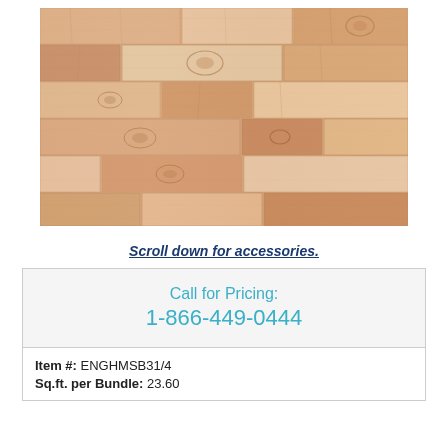[Figure (photo): Close-up photo of light maple hardwood flooring with natural wood grain and knots visible]
Scroll down for accessories.
Call for Pricing:
1-866-449-0444
Item #: ENGHMSB31/4
Sq.ft. per Bundle: 23.60